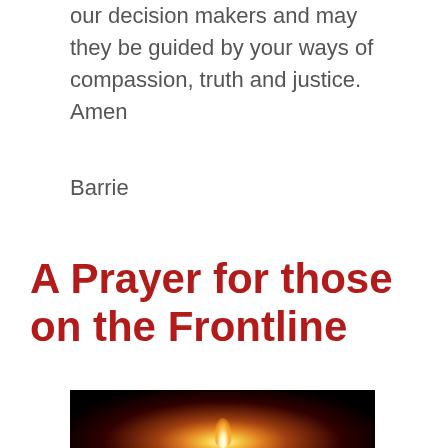our decision makers and may they be guided by your ways of compassion, truth and justice. Amen
Barrie
A Prayer for those on the Frontline
[Figure (photo): Dark photograph showing a lit candle flame held by hands against a black background]